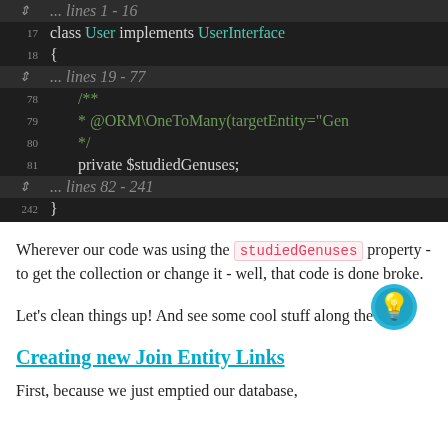[Figure (screenshot): Dark-themed code editor screenshot showing PHP class User implements UserInterface with collapsed line ranges and a private $studiedGenuses property]
Wherever our code was using the studiedGenuses property - to get the collection or change it - well, that code is done broke.
Let's clean things up! And see some cool stuff along the way.
Creating new Join Entity Links
First, because we just emptied our database,